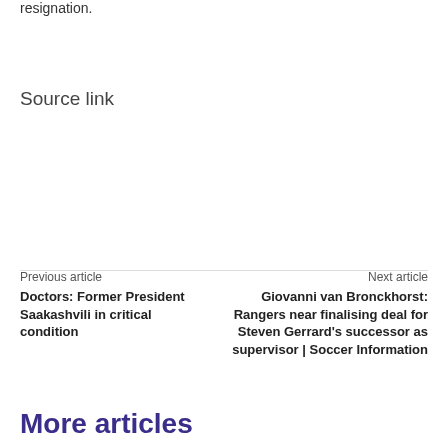resignation.
Source link
Previous article
Doctors: Former President Saakashvili in critical condition
Next article
Giovanni van Bronckhorst: Rangers near finalising deal for Steven Gerrard's successor as supervisor | Soccer Information
More articles